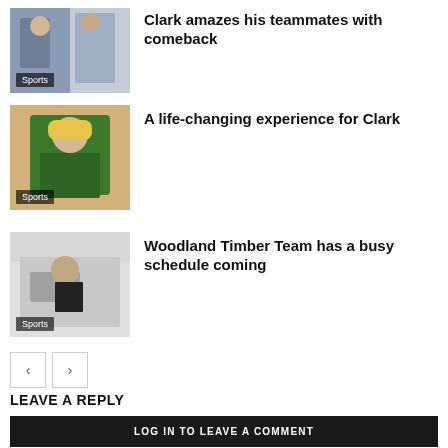[Figure (photo): Sports photo with two athletes, Sports category label]
Clark amazes his teammates with comeback
[Figure (photo): Person in green elf costume, Sports category label]
A life-changing experience for Clark
[Figure (photo): Man in kitchen/workshop setting, Sports category label]
Woodland Timber Team has a busy schedule coming
Pagination previous/next buttons
LEAVE A REPLY
LOG IN TO LEAVE A COMMENT